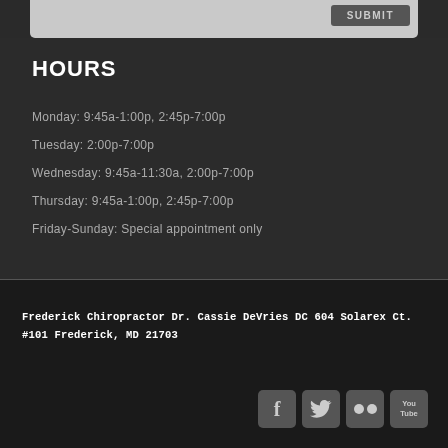HOURS
Monday: 9:45a-1:00p, 2:45p-7:00p
Tuesday: 2:00p-7:00p
Wednesday: 9:45a-11:30a, 2:00p-7:00p
Thursday: 9:45a-1:00p, 2:45p-7:00p
Friday-Sunday: Special appointment only
Frederick Chiropractor Dr. Cassie DeVries DC 604 Solarex Ct. #101 Frederick, MD 21703